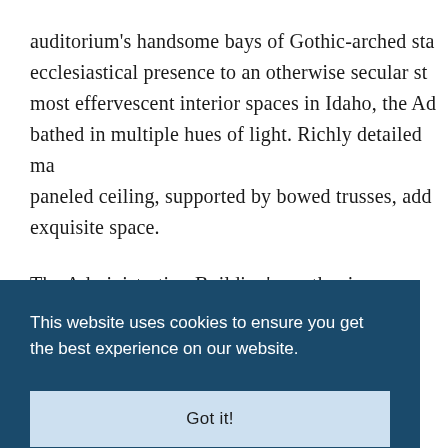auditorium's handsome bays of Gothic-arched stained glass windows lend an ecclesiastical presence to an otherwise secular structure. Among the most effervescent interior spaces in Idaho, the Administration Building is bathed in multiple hues of light. Richly detailed masonry walls and a paneled ceiling, supported by bowed trusses, add to the beauty of this exquisite space.
The Administration Building's south wing, designed...
[Figure (other): Cookie consent overlay banner with dark blue background containing text 'This website uses cookies to ensure you get the best experience on our website.' and a 'Got it!' button.]
The Administration Building, including Tourtellotte...